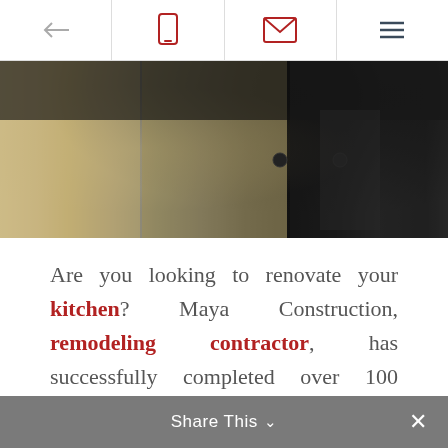← [phone icon] [email icon] [menu icon]
[Figure (photo): Close-up photo of a modern kitchen showing stainless steel cabinet doors with dark countertop and cabinet hardware against a dark background]
Are you looking to renovate your kitchen? Maya Construction, remodeling contractor, has successfully completed over 100 kitchen renovations in the Chicagoland area. Call (773) 305-5789 today for a free estimate.
Share This ∨  ✕